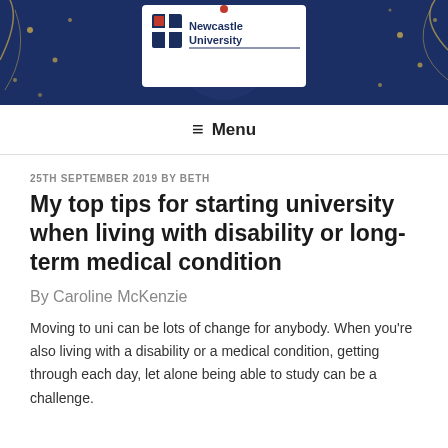[Figure (logo): Newcastle University website header banner with dark navy blue background, gold dot decorations, and Newcastle University logo in white box]
≡ Menu
25TH SEPTEMBER 2019 BY BETH
My top tips for starting university when living with disability or long-term medical condition
By Caroline McKenzie
Moving to uni can be lots of change for anybody. When you're also living with a disability or a medical condition, getting through each day, let alone being able to study can be a challenge.